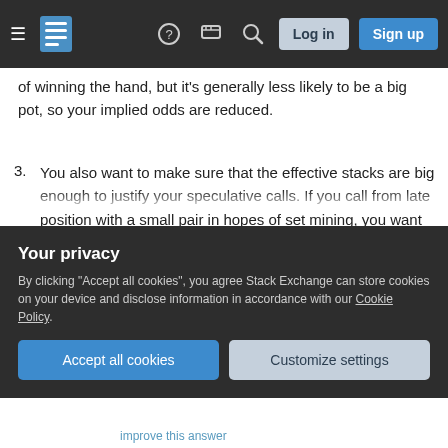Stack Exchange navigation bar with hamburger menu, logo, help, chat, search icons, Log in and Sign up buttons
of winning the hand, but it's generally less likely to be a big pot, so your implied odds are reduced.
3. You also want to make sure that the effective stacks are big enough to justify your speculative calls. If you call from late position with a small pair in hopes of set mining, you want to make sure that you can win enough chips to justify that play. You're going to flop a set about 1 in 8 times, and even when you flop your set you're not guaranteed to win the pot or
Your privacy
By clicking "Accept all cookies", you agree Stack Exchange can store cookies on your device and disclose information in accordance with our Cookie Policy.
improve this answer